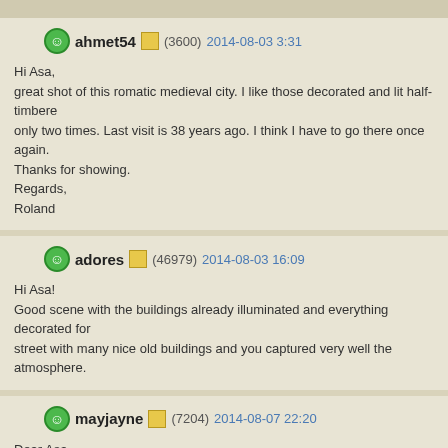ahmet54 (3600) 2014-08-03 3:31
Hi Asa,
great shot of this romatic medieval city. I like those decorated and lit half-timbered houses. I was in Colmar only two times. Last visit is 38 years ago. I think I have to go there once again.
Thanks for showing.
Regards,
Roland
adores (46979) 2014-08-03 16:09
Hi Asa!
Good scene with the buildings already illuminated and everything decorated for the season. You have a nice street with many nice old buildings and you captured very well the atmosphere.
mayjayne (7204) 2014-08-07 22:20
Dear Asa,
Superb light management and sharpness, which is difficult during the blue hour. Nice atmosphere created in this composition.
TFS,